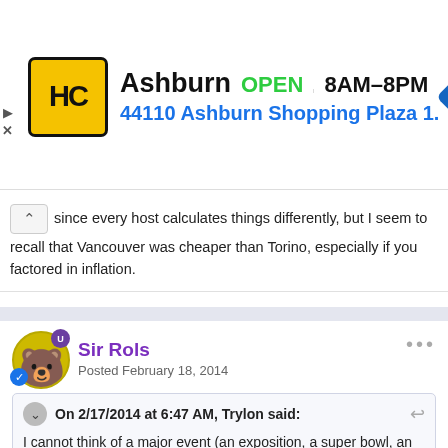[Figure (screenshot): Ad banner for HC (Home Depot/hardware store) with yellow logo, store name Ashburn, OPEN status, hours 8AM-8PM, address 44110 Ashburn Shopping Plaza 1., and a blue navigation diamond icon.]
since every host calculates things differently, but I seem to recall that Vancouver was cheaper than Torino, especially if you factored in inflation.
Sir Rols
Posted February 18, 2014
On 2/17/2014 at 6:47 AM, Trylon said:

I cannot think of a major event (an exposition, a super bowl, an Olympic games etc.) that cost less than a similar previous event. That concept flies in the face of human nature to build bigger, better and spend more money to impress the crowds. This current winter games, if the